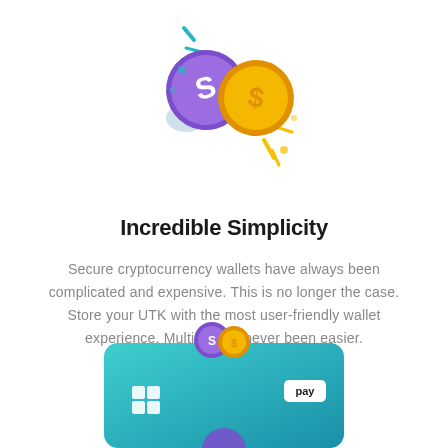[Figure (illustration): Two coins colliding — a purple coin with an S symbol and an orange coin with a dollar sign, with sparkle/burst lines around them, on a white background]
Incredible Simplicity
Secure cryptocurrency wallets have always been complicated and expensive. This is no longer the case. Store your UTK with the most user-friendly wallet experience. Multisig has never been easier.
[Figure (illustration): A teal/green gradient payment card with a grid/wallet icon on the left, a 'pay' button label on the right, and two small coins (purple and orange) above the card, partially cut off at bottom of page]